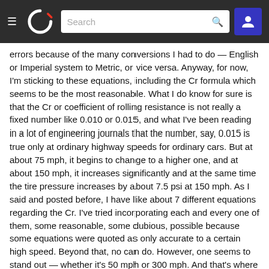Navigation bar with hamburger menu, logo, search box, and user icon
errors because of the many conversions I had to do — English or Imperial system to Metric, or vice versa. Anyway, for now, I'm sticking to these equations, including the Cr formula which seems to be the most reasonable. What I do know for sure is that the Cr or coefficient of rolling resistance is not really a fixed number like 0.010 or 0.015, and what I've been reading in a lot of engineering journals that the number, say, 0.015 is true only at ordinary highway speeds for ordinary cars. But at about 75 mph, it begins to change to a higher one, and at about 150 mph, it increases significantly and at the same time the tire pressure increases by about 7.5 psi at 150 mph. As I said and posted before, I have like about 7 different equations regarding the Cr. I've tried incorporating each and every one of them, some reasonable, some dubious, possible because some equations were quoted as only accurate to a certain high speed. Beyond that, no can do. However, one seems to stand out — whether it's 50 mph or 300 mph. And that's where I'm sticking for now. That Cr equation is Cr = 0.0135 + 0.000000129S^2 in which S is in mph. You see,